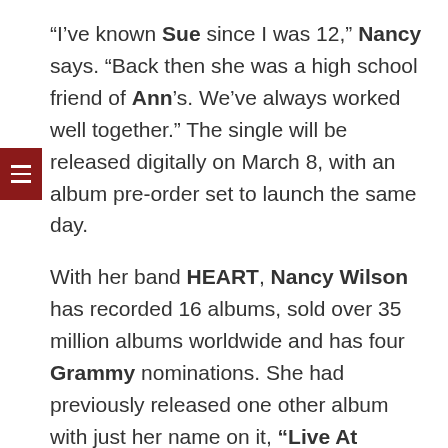“I’ve known Sue since I was 12,” Nancy says. “Back then she was a high school friend of Ann’s. We’ve always worked well together.” The single will be released digitally on March 8, with an album pre-order set to launch the same day.
With her band HEART, Nancy Wilson has recorded 16 albums, sold over 35 million albums worldwide and has four Grammy nominations. She had previously released one other album with just her name on it, “Live At McCabe’s Guitar Shop”, which captured her playing a set of covers and new songs in 1999. But considers this her first true solo album, a positive creative move amid a surreal year of loss; life during lock down.